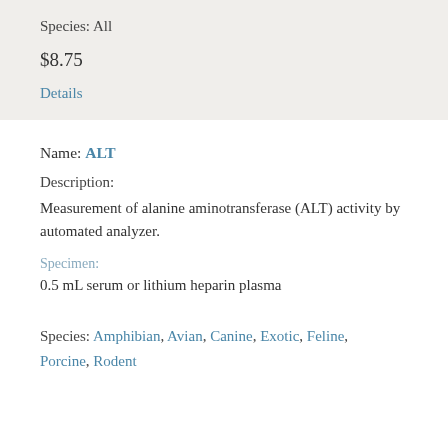Species: All
$8.75
Details
Name: ALT
Description:
Measurement of alanine aminotransferase (ALT) activity by automated analyzer.
Specimen:
0.5 mL serum or lithium heparin plasma
Species: Amphibian, Avian, Canine, Exotic, Feline, Porcine, Rodent